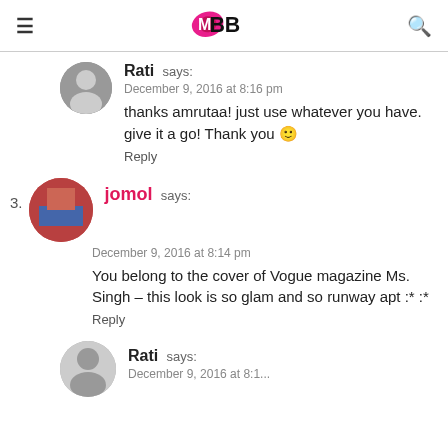IMBB
Rati says:
December 9, 2016 at 8:16 pm
thanks amrutaa! just use whatever you have. give it a go! Thank you 🙂
Reply
3. jomol says:
December 9, 2016 at 8:14 pm
You belong to the cover of Vogue magazine Ms. Singh – this look is so glam and so runway apt :* :*
Reply
Rati says: